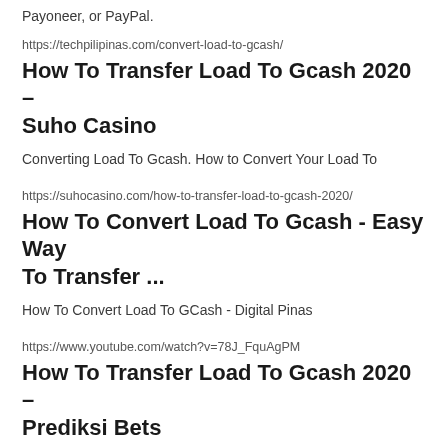Payoneer, or PayPal.
https://techpilipinas.com/convert-load-to-gcash/
How To Transfer Load To Gcash 2020 – Suho Casino
Converting Load To Gcash. How to Convert Your Load To
https://suhocasino.com/how-to-transfer-load-to-gcash-2020/
How To Convert Load To Gcash - Easy Way To Transfer ...
How To Convert Load To GCash - Digital Pinas
https://www.youtube.com/watch?v=78J_FquAgPM
How To Transfer Load To Gcash 2020 – Prediksi Bets